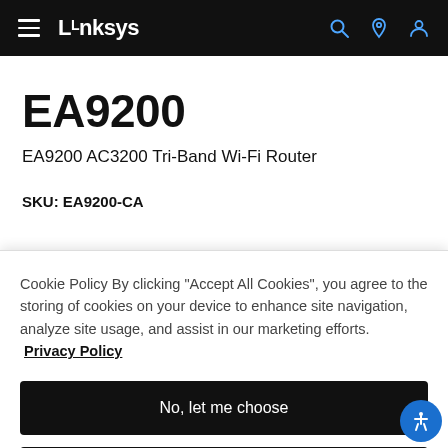Linksys navigation bar with hamburger menu, search, location, and account icons
EA9200
EA9200 AC3200 Tri-Band Wi-Fi Router
SKU: EA9200-CA
Cookie Policy By clicking “Accept All Cookies”, you agree to the storing of cookies on your device to enhance site navigation, analyze site usage, and assist in our marketing efforts. Privacy Policy
No, let me choose
Reject All